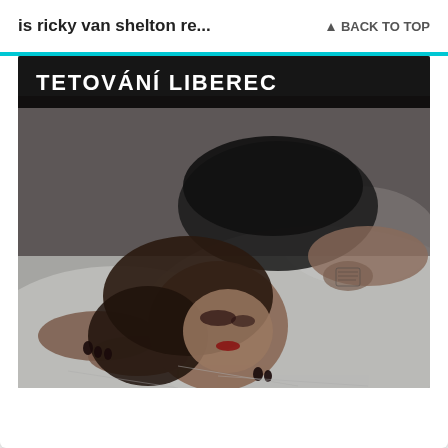is ricky van shelton re...
↑ BACK TO TOP
[Figure (photo): A woman with dark hair wearing black lingerie, lying on white bedding, with visible tattoo on her arm. White text overlay at top reads 'TETOVÁNÍ LIBEREC' on black background.]
TETOVÁNÍ LIBEREC